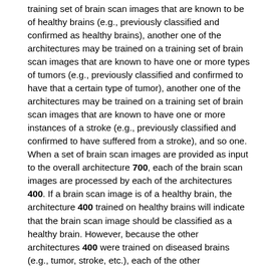training set of brain scan images that are known to be of healthy brains (e.g., previously classified and confirmed as healthy brains), another one of the architectures may be trained on a training set of brain scan images that are known to have one or more types of tumors (e.g., previously classified and confirmed to have that a certain type of tumor), another one of the architectures may be trained on a training set of brain scan images that are known to have one or more instances of a stroke (e.g., previously classified and confirmed to have suffered from a stroke), and so one. When a set of brain scan images are provided as input to the overall architecture 700, each of the brain scan images are processed by each of the architectures 400. If a brain scan image is of a healthy brain, the architecture 400 trained on healthy brains will indicate that the brain scan image should be classified as a healthy brain. However, because the other architectures 400 were trained on diseased brains (e.g., tumor, stroke, etc.), each of the other architectures 400 will indicate that an anomaly exists with respect to the brain scan image. Likewise, if a brain scan image is of a brain with a certain type of tumor, the architecture 400 trained on brains with that type of tumor will indicate that the brain scan image